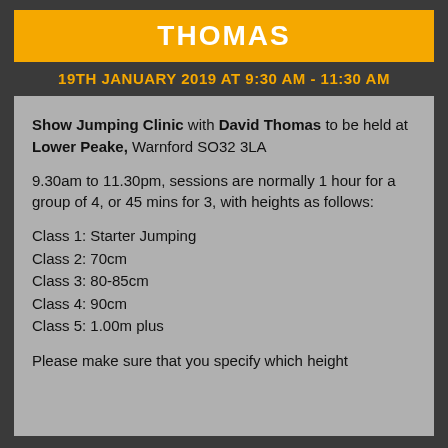THOMAS
19TH JANUARY 2019 AT 9:30 AM - 11:30 AM
Show Jumping Clinic with David Thomas to be held at Lower Peake, Warnford SO32 3LA
9.30am to 11.30pm, sessions are normally 1 hour for a group of 4, or 45 mins for 3, with heights as follows:
Class 1: Starter Jumping
Class 2: 70cm
Class 3: 80-85cm
Class 4: 90cm
Class 5: 1.00m plus
Please make sure that you specify which height